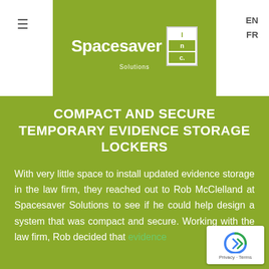Spacesaver Solutions Inc. | EN | FR
COMPACT AND SECURE TEMPORARY EVIDENCE STORAGE LOCKERS
With very little space to install updated evidence storage in the law firm, they reached out to Rob McClelland at Spacesaver Solutions to see if he could help design a system that was compact and secure. Working with the law firm, Rob decided that evidence